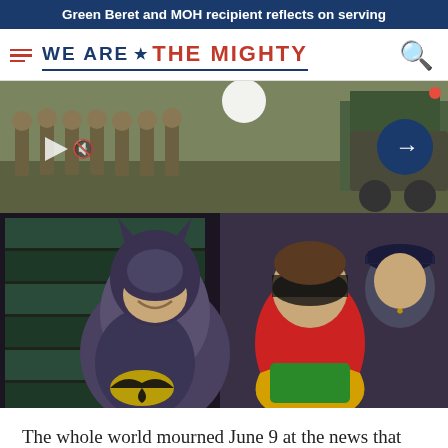Green Beret and MOH recipient reflects on serving
[Figure (logo): We Are The Mighty logo with hamburger menu and search icon]
[Figure (photo): Strip of video thumbnails showing soldiers in military uniforms outdoors, with play button, mute icon, and navigation arrow on dark blue circle]
[Figure (photo): Scene from 1960s Batman TV show: Batman (Adam West) in full costume smiling at Robin, with a police officer in background]
The whole world mourned June 9 at the news that Adam West, the Army